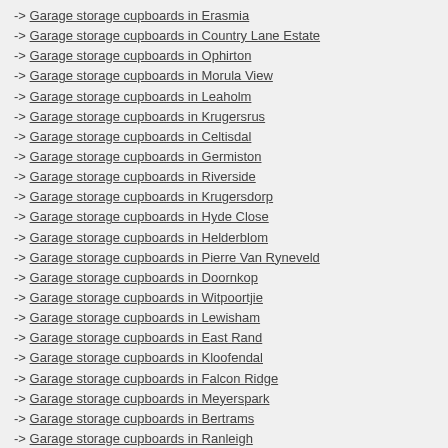-> Garage storage cupboards in Erasmia
-> Garage storage cupboards in Country Lane Estate
-> Garage storage cupboards in Ophirton
-> Garage storage cupboards in Morula View
-> Garage storage cupboards in Leaholm
-> Garage storage cupboards in Krugersrus
-> Garage storage cupboards in Celtisdal
-> Garage storage cupboards in Germiston
-> Garage storage cupboards in Riverside
-> Garage storage cupboards in Krugersdorp
-> Garage storage cupboards in Hyde Close
-> Garage storage cupboards in Helderblom
-> Garage storage cupboards in Pierre Van Ryneveld
-> Garage storage cupboards in Doornkop
-> Garage storage cupboards in Witpoortjie
-> Garage storage cupboards in Lewisham
-> Garage storage cupboards in East Rand
-> Garage storage cupboards in Kloofendal
-> Garage storage cupboards in Falcon Ridge
-> Garage storage cupboards in Meyerspark
-> Garage storage cupboards in Bertrams
-> Garage storage cupboards in Ranleigh
-> Garage storage cupboards in Panorama
-> Garage storage cupboards in Karenpark